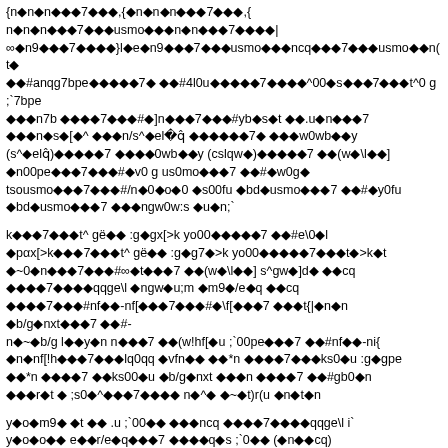{n◆n◆n◆◆◆7◆◆◆,{◆n◆n◆n◆◆◆7◆◆◆,{
n◆n◆n◆◆◆7◆◆◆usmo◆◆◆n◆n◆◆◆7◆◆◆◆|
∞◆n9◆◆◆7◆◆◆◆}l◆e◆n9◆◆◆7◆◆◆usmo◆◆◆ncq◆◆◆7◆◆◆usmo◆◆n(t◆
◆◆#anqg7bpe◆◆◆◆◆7◆ ◆◆#4l0u◆◆◆◆◆7◆◆◆◆^00◆s◆◆◆7◆◆◆t^0 g ;`7bpe
◆◆◆n7b ◆◆◆◆7◆◆◆#◆]n◆◆◆7◆◆◆#yb◆s◆t ◆◆.u◆n◆◆◆7
◆◆◆n◆s◆[◆^ ◆◆◆n/s^◆elq̂ ◆◆◆◆◆◆7◆ ◆◆◆w0wb◆◆y
(s^◆elq̂)◆◆◆◆◆7 ◆◆◆◆0wb◆◆y (cslqw◆)◆◆◆◆◆7 ◆◆(w◆\l◆◆]
◆n00pe◆◆◆7◆◆◆#◆v0 g us0mo◆◆◆7 ◆◆#◆w0g◆
tsousmo◆◆◆7◆◆◆#/n◆0◆o◆0 ◆s00fu ◆bd◆usmo◆◆◆7 ◆◆#◆y0fu
◆bd◆usmo◆◆◆7 ◆◆◆ngw0w:s ◆u◆n;`
k◆◆◆7◆◆◆t^ gë◆◆ :g◆gx[>k yo00◆◆◆◆◆7 ◆◆#e\0◆l
◆pαx[>k◆◆◆7◆◆◆t^ gë◆◆ :g◆g7◆>k yo00◆◆◆◆◆7◆◆◆t◆>k◆t
◆~0◆n◆◆◆7◆◆◆#∞◆t◆◆◆7 ◆◆(w◆\l◆◆] s^gw◆]d◆ ◆◆cq
◆◆◆◆7◆◆◆◆qqge\l ◆ngw◆u;m ◆m9◆/e◆q ◆◆cq
◆◆◆◆7◆◆◆#nf◆◆-nf[◆◆◆7◆◆◆#◆\f[◆◆◆7 ◆◆◆t{|◆n◆n ◆b/g◆nxt◆◆◆7 ◆◆#-
n◆~◆b/g l◆◆y◆n n◆◆◆7 ◆◆(w!hf[◆u ;`00pe◆◆◆7 ◆◆#nf◆◆-ni{
◆n◆nf[!h◆◆◆7◆◆◆lq0qq ◆vfn◆◆ ◆◆*n ◆◆◆◆7◆◆◆ks0◆u :g◆gpe
◆◆*n ◆◆◆◆7 ◆◆ks00◆u ◆b/g◆nxt ◆◆◆n ◆◆◆◆7 ◆◆#gb0◆n
◆◆◆r◆t ◆ ;s0◆^◆◆◆7◆◆◆◆ n◆^◆ ◆~◆t)r(u ◆n◆t◆n
y◆o◆m9◆ ◆t ◆◆ .u ;`00◆◆ ◆◆◆ncq ◆◆◆◆7◆◆◆◆qqge\l i`
y◆o◆o◆◆ e◆◆r/e◆q◆◆◆7 ◆◆◆◆q◆s ;`0◆◆ (◆n◆◆cq)
<◆◆◆◆◆◆◆7◆ ◆◆◆ve◆◆nt◆ g◆ (u 7b ◆◆◆n7b ◆◆◆◆◆7 ◆◆bqt^(u